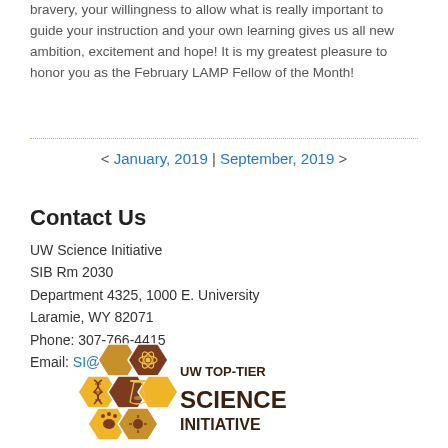bravery, your willingness to allow what is really important to guide your instruction and your own learning gives us all new ambition, excitement and hope! It is my greatest pleasure to honor you as the February LAMP Fellow of the Month!
< January, 2019 | September, 2019 >
Contact Us
UW Science Initiative
SIB Rm 2030
Department 4325, 1000 E. University
Laramie, WY 82071
Phone: 307-766-4415
Email: SI@uwyo.edu
[Figure (logo): UW Top-Tier Science Initiative logo with hexagonal honeycomb pattern icons including atom, flask, DNA, paw print, and sun/flower in gold and brown colors with text 'UW TOP-TIER SCIENCE INITIATIVE']